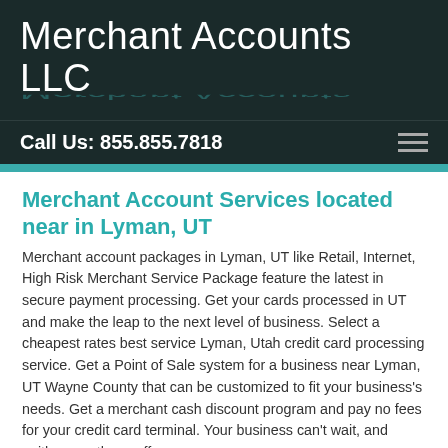Merchant Accounts LLC
Call Us: 855.855.7818
Merchant Account Services located near in Lyman, UT
Merchant account packages in Lyman, UT like Retail, Internet, High Risk Merchant Service Package feature the latest in secure payment processing. Get your cards processed in UT and make the leap to the next level of business. Select a cheapest rates best service Lyman, Utah credit card processing service. Get a Point of Sale system for a business near Lyman, UT Wayne County that can be customized to fit your business's needs. Get a merchant cash discount program and pay no fees for your credit card terminal. Your business can't wait, and neither can these offers.
Credit Card Processing Services in Wayne County